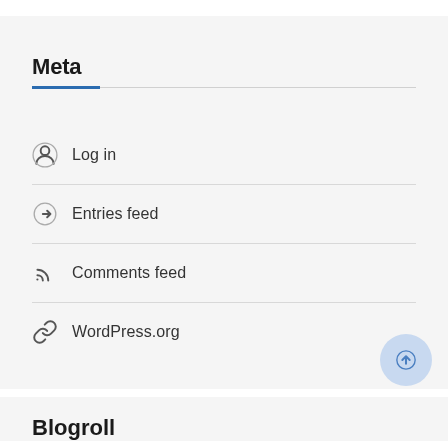Meta
Log in
Entries feed
Comments feed
WordPress.org
Blogroll